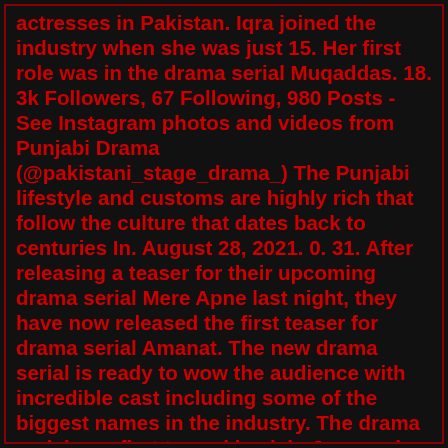actresses in Pakistan. Iqra joined the industry when she was just 15. Her first role was in the drama serial Muqaddas. 18. 3k Followers, 67 Following, 980 Posts - See Instagram photos and videos from Punjabi Drama (@pakistani_stage_drama_) The Punjabi lifestyle and customs are highly rich that follow the culture that dates back to centuries In. August 28, 2021. 0. 31. After releasing a teaser for their upcoming drama serial Mere Apne last night, they have now released the first teaser for drama serial Amanat. The new drama serial is ready to wow the audience with incredible cast including some of the biggest names in the industry. The drama serial was first teased back in June and now. 4. Raqeeb Se - To Be One of The Best Pakistani Dramas 2021. 5. Pehli Si Mohabbat. 6. Phaans. The new year has got something new and exciting for all of us to entertain us the best way. As we have watched an amazing range of drama serials in the year 2020, now here we have got a list of the best Pakistani dramas 2021 that you must watch. Amanat Drama Last Episode Public Reaction. sidra. April 27, 2022. 0. sidra. 1 Raqeeb Se